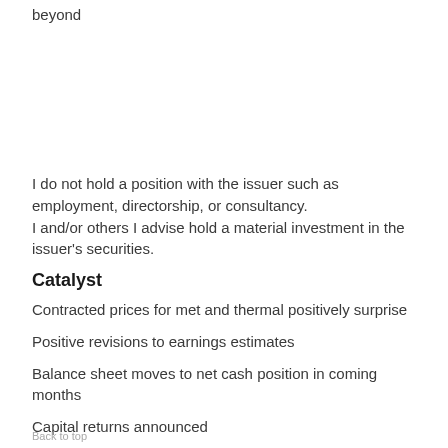beyond
I do not hold a position with the issuer such as employment, directorship, or consultancy.
I and/or others I advise hold a material investment in the issuer's securities.
Catalyst
Contracted prices for met and thermal positively surprise
Positive revisions to earnings estimates
Balance sheet moves to net cash position in coming months
Capital returns announced
Back to top
Capital returns executed